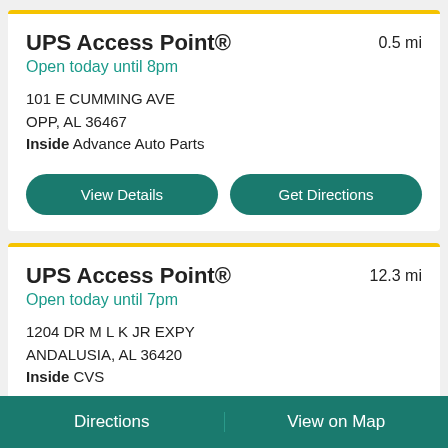UPS Access Point®
0.5 mi
Open today until 8pm
101 E CUMMING AVE
OPP, AL 36467
Inside Advance Auto Parts
View Details
Get Directions
UPS Access Point®
12.3 mi
Open today until 7pm
1204 DR M L K JR EXPY
ANDALUSIA, AL 36420
Inside CVS
Directions    View on Map